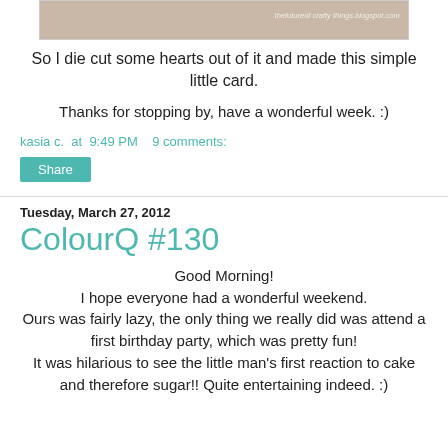[Figure (photo): Top portion of a photo, appearing to show a light tan/beige image with a watermark text 'thefutureof crafty things.blogspot.com' in the upper right area]
So I die cut some hearts out of it and made this simple little card.
Thanks for stopping by, have a wonderful week. :)
kasia c.  at  9:49 PM     9 comments:
Share
Tuesday, March 27, 2012
ColourQ #130
Good Morning!
I hope everyone had a wonderful weekend.
Ours was fairly lazy, the only thing we really did was attend a first birthday party, which was pretty fun!
It was hilarious to see the little man's first reaction to cake and therefore sugar!! Quite entertaining indeed. :)